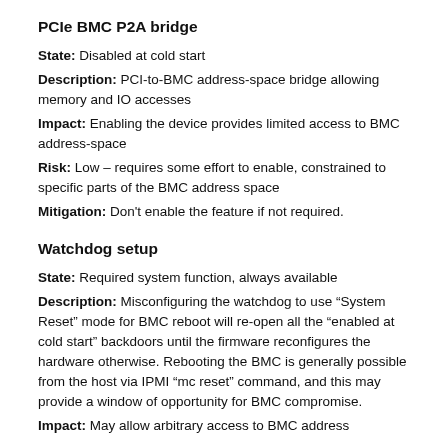PCIe BMC P2A bridge
State: Disabled at cold start
Description: PCI-to-BMC address-space bridge allowing memory and IO accesses
Impact: Enabling the device provides limited access to BMC address-space
Risk: Low – requires some effort to enable, constrained to specific parts of the BMC address space
Mitigation: Don't enable the feature if not required.
Watchdog setup
State: Required system function, always available
Description: Misconfiguring the watchdog to use “System Reset” mode for BMC reboot will re-open all the “enabled at cold start” backdoors until the firmware reconfigures the hardware otherwise. Rebooting the BMC is generally possible from the host via IPMI “mc reset” command, and this may provide a window of opportunity for BMC compromise.
Impact: May allow arbitrary access to BMC address